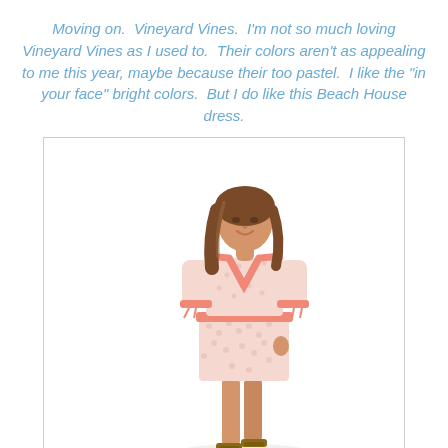Moving on.  Vineyard Vines.  I'm not so much loving Vineyard Vines as I used to.  Their colors aren't as appealing to me this year, maybe because their too pastel.  I like the "in your face" bright colors.  But I do like this Beach House dress.
[Figure (photo): A female model wearing a pink and white patterned Beach House dress with coral/salmon trim at the V-neckline, waist band, and sleeve cuffs. The dress is knee-length with half sleeves tied at the cuffs. She is wearing strappy sandals and standing against a white background.]